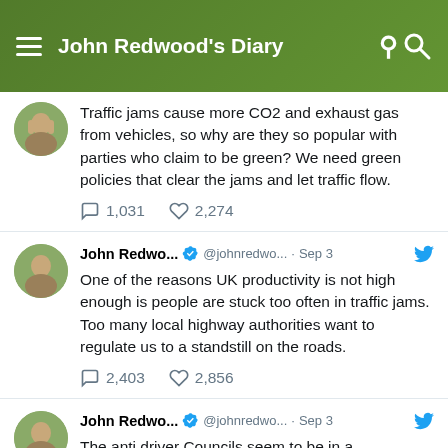John Redwood's Diary
Traffic jams cause more CO2 and exhaust gas from vehicles, so why are they so popular with parties who claim to be green? We need green policies that clear the jams and let traffic flow.
1,031  2,274
John Redwo... @johnredwo... · Sep 3 — One of the reasons UK productivity is not high enough is people are stuck too often in traffic jams. Too many local highway authorities want to regulate us to a standstill on the roads.
2,403  2,856
John Redwo... @johnredwo... · Sep 3 — The anti driver Councils seem to be in a competition to close most roads. In Wokingham the Lib Dem Council seems to want to win it. We need roads for deliveries to shops, to get to